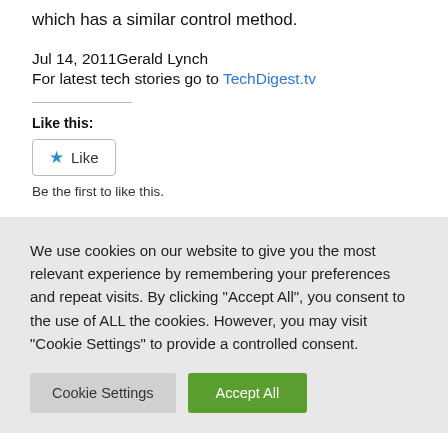which has a similar control method.
Jul 14, 2011Gerald Lynch
For latest tech stories go to TechDigest.tv
Like this:
Like
Be the first to like this.
We use cookies on our website to give you the most relevant experience by remembering your preferences and repeat visits. By clicking "Accept All", you consent to the use of ALL the cookies. However, you may visit "Cookie Settings" to provide a controlled consent.
Cookie Settings
Accept All